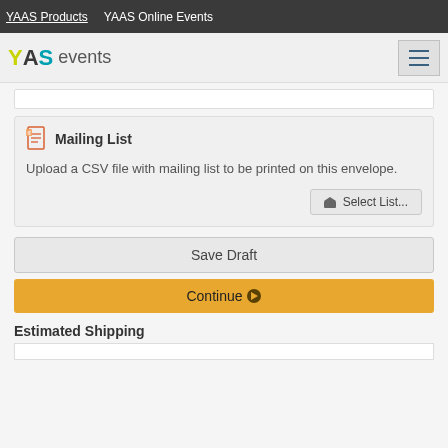YAAS Products   YAAS Online Events
[Figure (logo): YAAS events logo with hamburger menu icon]
Upload a CSV file with mailing list to be printed on this envelope.
Mailing List
Select List...
Save Draft
Continue
Estimated Shipping